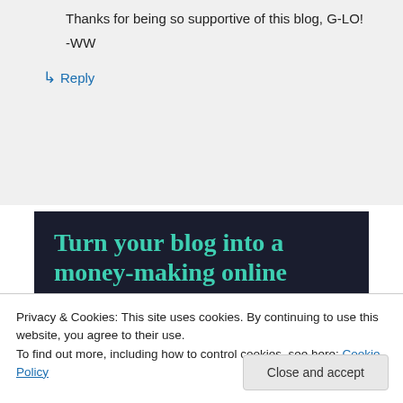Thanks for being so supportive of this blog, G-LO!
-WW
↳ Reply
[Figure (infographic): Dark navy background advertisement with teal text reading 'Turn your blog into a money-making online course.' and a teal pill-shaped 'Learn More' button.]
Privacy & Cookies: This site uses cookies. By continuing to use this website, you agree to their use.
To find out more, including how to control cookies, see here: Cookie Policy
Close and accept